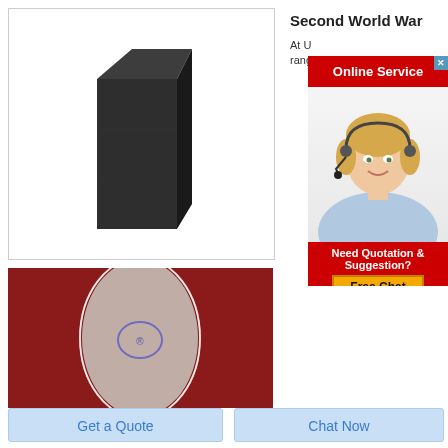[Figure (photo): A dark graphite block (rectangular prism) on a white background inside a bordered box]
Second World War
At U... range...
[Figure (photo): Online Service banner with a smiling female customer service agent wearing a headset, red background banner reading 'Online Service' and a section below reading 'Need Quotation & Suggestion?' with a yellow 'Free Chat' button]
[Figure (photo): Close-up photo of graphite powder on a dark red background with oval/teardrop shaped clear container]
Get a Quote
Chat Now